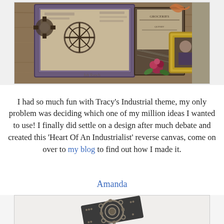[Figure (photo): Steampunk/industrial craft art pieces arranged on a wooden surface — includes decorated frames with compass motifs, vintage labels, wire mesh, a small ornate gold picture frame with a portrait photo, and mixed media collage items with gears, flowers, and vintage ephemera.]
I had so much fun with Tracy's Industrial theme, my only problem was deciding which one of my million ideas I wanted to use!  I finally did settle on a design after much debate and created this 'Heart Of An Industrialist' reverse canvas, come on over to my blog to find out how I made it.
Amanda
[Figure (photo): A steampunk-style decorated box or book with intricate gear and mandala patterns embossed or applied in metallic dark tones on the surface, photographed at an angle on a light background.]